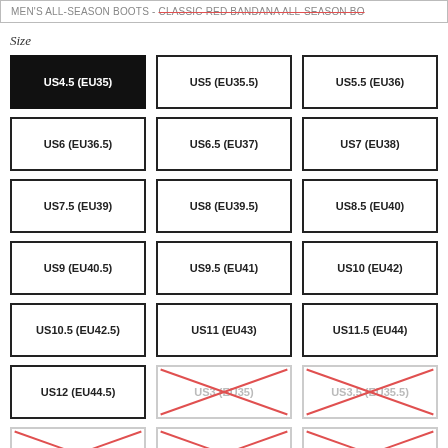MEN'S ALL-SEASON BOOTS - CLASSIC RED BANDANA ALL-SEASON BO
Size
US4.5 (EU35) [selected]
US5 (EU35.5)
US5.5 (EU36)
US6 (EU36.5)
US6.5 (EU37)
US7 (EU38)
US7.5 (EU39)
US8 (EU39.5)
US8.5 (EU40)
US9 (EU40.5)
US9.5 (EU41)
US10 (EU42)
US10.5 (EU42.5)
US11 (EU43)
US11.5 (EU44)
US12 (EU44.5)
US3 (EU35) [unavailable]
US3.5 (EU35.5) [unavailable]
US4 (EU36) [unavailable]
US4.5 (EU36.5) [unavailable]
US5 (EU37) [unavailable]
US5.5 (EU38) [unavailable]
US6 (EU39) [unavailable]
US6.5 (EU39.5) [unavailable]